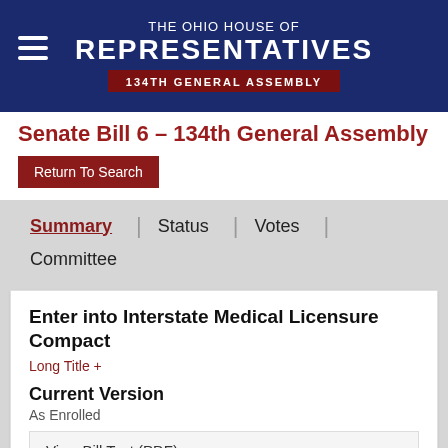THE OHIO HOUSE OF REPRESENTATIVES 134TH GENERAL ASSEMBLY
Senate Bill 6 - 134th General Assembly
Return To Search
Summary | Status | Votes | Committee
Enter into Interstate Medical Licensure Compact
Long Title +
Current Version
As Enrolled
View Bill Text (PDF)